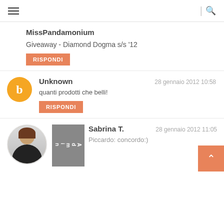≡  |  🔍
MissPandamonium
Giveaway - Diamond Dogma s/s '12
RISPONDI
Unknown
28 gennaio 2012 10:58
quanti prodotti che belli!
RISPONDI
Sabrina T.
28 gennaio 2012 11:05
Admin
Piccardo: concordo:)